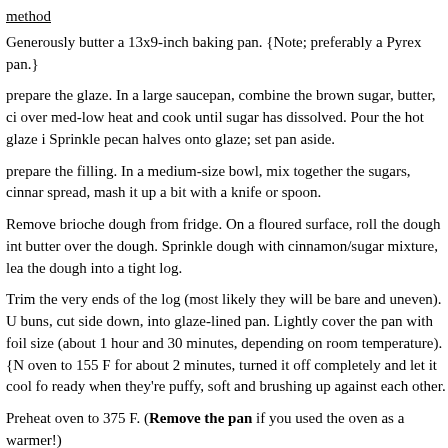method
Generously butter a 13x9-inch baking pan. {Note; preferably a Pyrex pan.}
prepare the glaze. In a large saucepan, combine the brown sugar, butter, ci over med-low heat and cook until sugar has dissolved. Pour the hot glaze i Sprinkle pecan halves onto glaze; set pan aside.
prepare the filling. In a medium-size bowl, mix together the sugars, cinnar spread, mash it up a bit with a knife or spoon.
Remove brioche dough from fridge. On a floured surface, roll the dough int butter over the dough. Sprinkle dough with cinnamon/sugar mixture, lea the dough into a tight log.
Trim the very ends of the log (most likely they will be bare and uneven). U buns, cut side down, into glaze-lined pan. Lightly cover the pan with foil size (about 1 hour and 30 minutes, depending on room temperature). {N oven to 155 F for about 2 minutes, turned it off completely and let it cool fo ready when they're puffy, soft and brushing up against each other.
Preheat oven to 375 F. (Remove the pan if you used the oven as a warmer!)